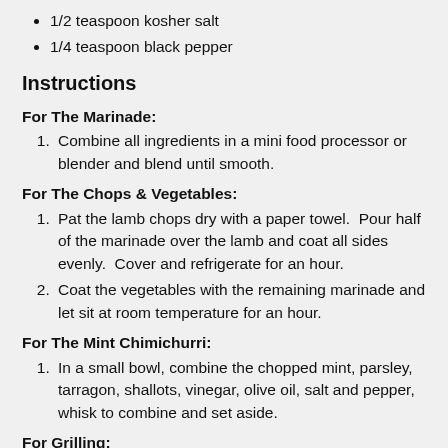1/2 teaspoon kosher salt
1/4 teaspoon black pepper
Instructions
For The Marinade:
1. Combine all ingredients in a mini food processor or blender and blend until smooth.
For The Chops & Vegetables:
1. Pat the lamb chops dry with a paper towel.  Pour half of the marinade over the lamb and coat all sides evenly.  Cover and refrigerate for an hour.
2. Coat the vegetables with the remaining marinade and let sit at room temperature for an hour.
For The Mint Chimichurri:
1. In a small bowl, combine the chopped mint, parsley, tarragon, shallots, vinegar, olive oil, salt and pepper, whisk to combine and set aside.
For Grilling:
1.  Preheat the grill to a medium high heat, about 425-450°. Take